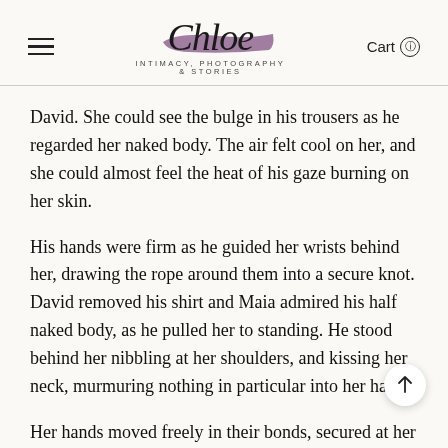Chloe — Intimacy, Photography & Stories | Cart
David. She could see the bulge in his trousers as he regarded her naked body. The air felt cool on her, and she could almost feel the heat of his gaze burning on her skin.
His hands were firm as he guided her wrists behind her, drawing the rope around them into a secure knot. David removed his shirt and Maia admired his half naked body, as he pulled her to standing. He stood behind her nibbling at her shoulders, and kissing her neck, murmuring nothing in particular into her hair.
Her hands moved freely in their bonds, secured at her ba...